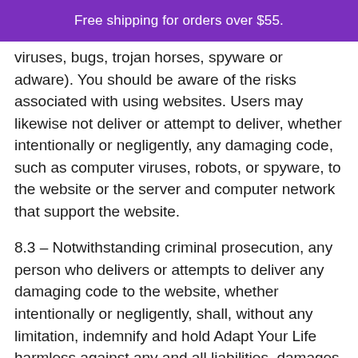Free shipping for orders over $55.
viruses, bugs, trojan horses, spyware or adware). You should be aware of the risks associated with using websites. Users may likewise not deliver or attempt to deliver, whether intentionally or negligently, any damaging code, such as computer viruses, robots, or spyware, to the website or the server and computer network that support the website.
8.3 – Notwithstanding criminal prosecution, any person who delivers or attempts to deliver any damaging code to the website, whether intentionally or negligently, shall, without any limitation, indemnify and hold Adapt Your Life harmless against any and all liabilities, damages, risks and losses that Adapt Your Life and its